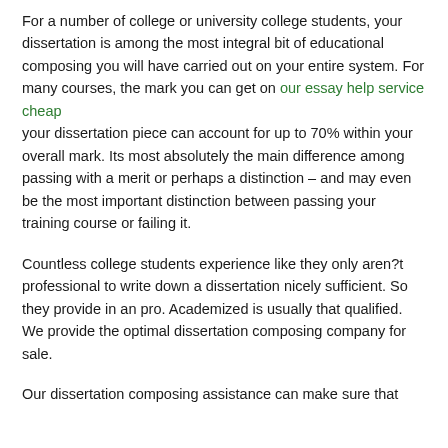For a number of college or university college students, your dissertation is among the most integral bit of educational composing you will have carried out on your entire system. For many courses, the mark you can get on our essay help service cheap your dissertation piece can account for up to 70% within your overall mark. Its most absolutely the main difference among passing with a merit or perhaps a distinction – and may even be the most important distinction between passing your training course or failing it.
Countless college students experience like they only aren?t professional to write down a dissertation nicely sufficient. So they provide in an pro. Academized is usually that qualified. We provide the optimal dissertation composing company for sale.
Our dissertation composing assistance can make sure that